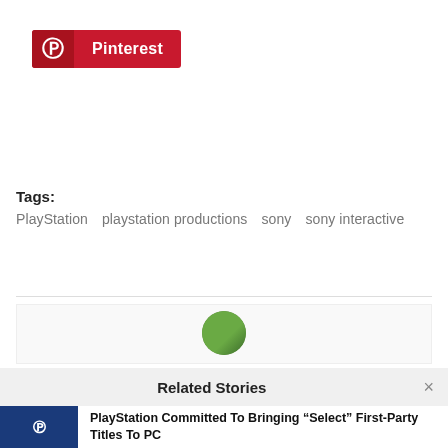[Figure (logo): Pinterest share button with red background, Pinterest 'P' icon on darker red left panel, and 'Pinterest' label text in white]
Tags:
PlayStation   playstation productions   sony   sony interactive
[Figure (photo): Partial author avatar/photo visible at top of an author box]
Related Stories
[Figure (screenshot): PlayStation logo on dark blue background - story thumbnail]
PlayStation Committed To Bringing “Select” First-Party Titles To PC